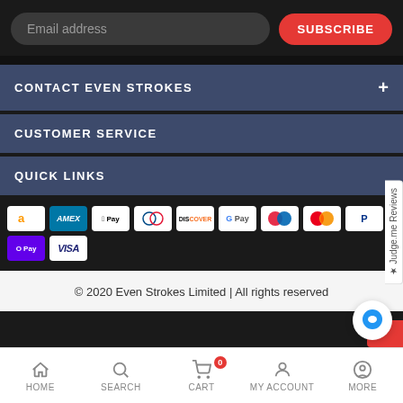Email address
SUBSCRIBE
CONTACT EVEN STROKES
CUSTOMER SERVICE
QUICK LINKS
[Figure (other): Payment method icons: Amazon, AMEX, Apple Pay, Diners Club, Discover, Google Pay, Maestro, Mastercard, PayPal, O Pay, VISA]
© 2020 Even Strokes Limited | All rights reserved
HOME  SEARCH  CART 0  MY ACCOUNT  MORE